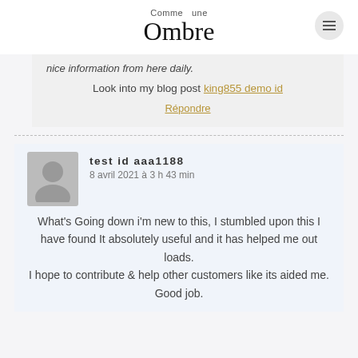Comme une Ombre
nice information from here daily.
Look into my blog post king855 demo id
Répondre
test id aaa1188
8 avril 2021 à 3 h 43 min
What's Going down i'm new to this, I stumbled upon this I have found It absolutely useful and it has helped me out loads. I hope to contribute & help other customers like its aided me. Good job.